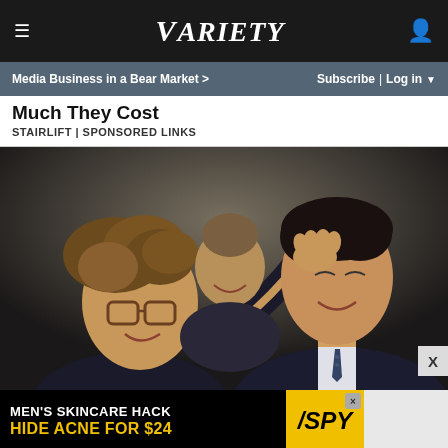≡  VARIETY  👤
Media Business in a Bear Market >   Subscribe | Log in ▼
Much They Cost
STAIRLIFT | SPONSORED LINKS
[Figure (photo): Two men in dark suits facing each other closely, one with curly hair and glasses reaching up to hold the other's neck, smiling. A third man is visible smiling in the background.]
[Figure (infographic): Advertisement banner: MEN'S SKINCARE HACK / HIDE ACNE FOR $24 with SPY logo on yellow background]